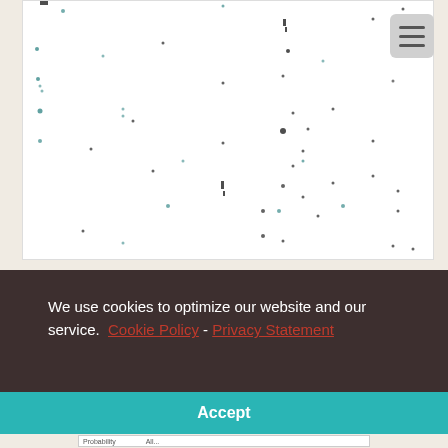[Figure (continuous-plot): Scatter plot showing a sparse cloud of small dark dots and marks on a white background, representing a scientific data distribution. Individual point values cannot be reliably extracted.]
We use cookies to optimize our website and our service.  Cookie Policy - Privacy Statement
Accept